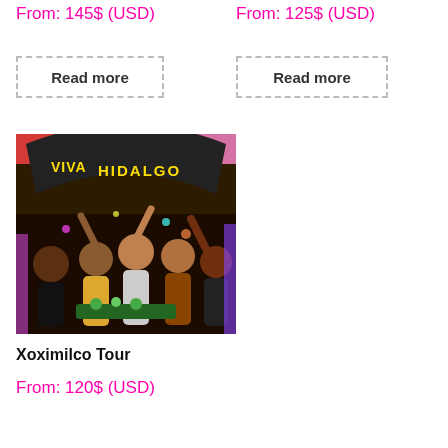From: 145$ (USD)
From: 125$ (USD)
Read more
Read more
[Figure (photo): Group of people posing and celebrating on a colorful boat with 'VIVA HIDALGO' signage, Xoximilco tour.]
Xoximilco Tour
From: 120$ (USD)